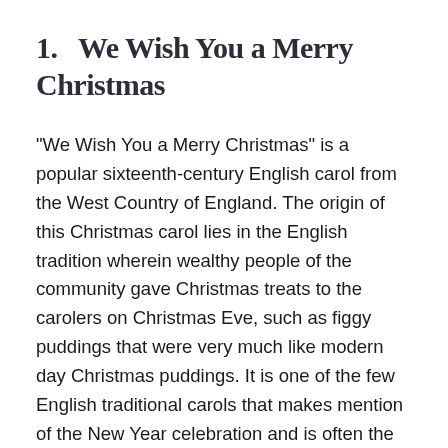1.   We Wish You a Merry Christmas
"We Wish You a Merry Christmas" is a popular sixteenth-century English carol from the West Country of England. The origin of this Christmas carol lies in the English tradition wherein wealthy people of the community gave Christmas treats to the carolers on Christmas Eve, such as figgy puddings that were very much like modern day Christmas puddings. It is one of the few English traditional carols that makes mention of the New Year celebration and is often the last song carolers sing, wishing all good tidings and happy spirits